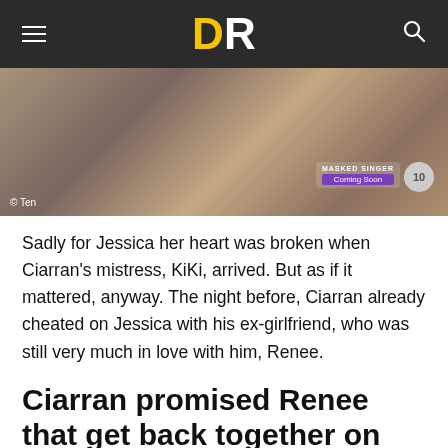DR (logo)
[Figure (photo): Two people embracing, heavily tattooed arms visible. TV watermark © Ten. Masked Singer Coming Soon promo badge in bottom right.]
Sadly for Jessica her heart was broken when Ciarran's mistress, KiKi, arrived. But as if it mattered, anyway. The night before, Ciarran already cheated on Jessica with his ex-girlfriend, who was still very much in love with him, Renee.
Ciarran promised Renee that get back together on the show